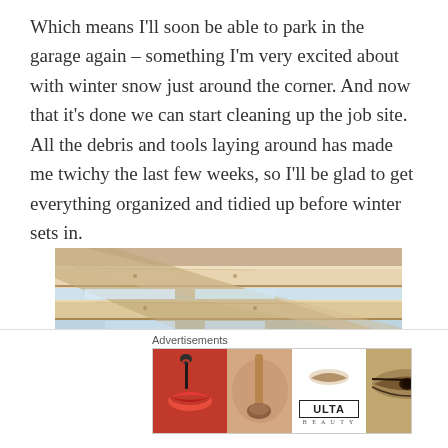Which means I'll soon be able to park in the garage again – something I'm very excited about with winter snow just around the corner.  And now that it's done we can start cleaning up the job site.  All the debris and tools laying around has made me twichy the last few weeks, so I'll be glad to get everything organized and tidied up before winter sets in.
[Figure (photo): Upward-looking view of a wooden pergola or roof structure with pale timber beams and slats against a bright sky]
Advertisements
[Figure (photo): Ulta Beauty advertisement banner showing cosmetics and makeup looks with SHOP NOW call to action]